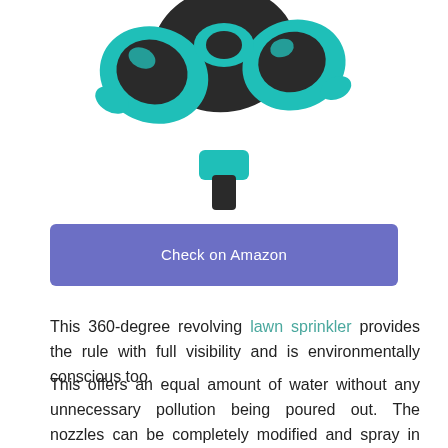[Figure (photo): Partial view of a teal/turquoise and black 360-degree revolving lawn sprinkler, cropped at top]
Check on Amazon
This 360-degree revolving lawn sprinkler provides the rule with full visibility and is environmentally conscious too.
This offers an equal amount of water without any unnecessary pollution being poured out. The nozzles can be completely modified and spray in every direction so that you can configure them in your backyard.